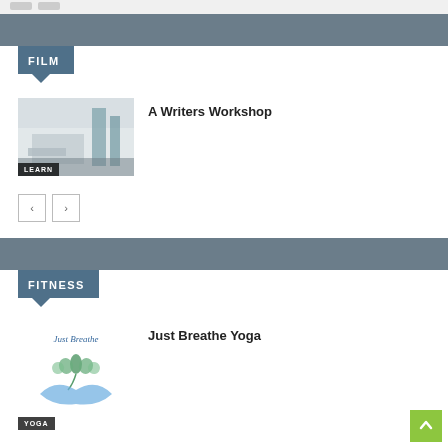FILM
[Figure (photo): Thumbnail image of a writers workshop scene with a desk and items, labeled LEARN]
A Writers Workshop
FITNESS
[Figure (logo): Just Breathe Yoga logo with lotus flower and hands, labeled YOGA]
Just Breathe Yoga